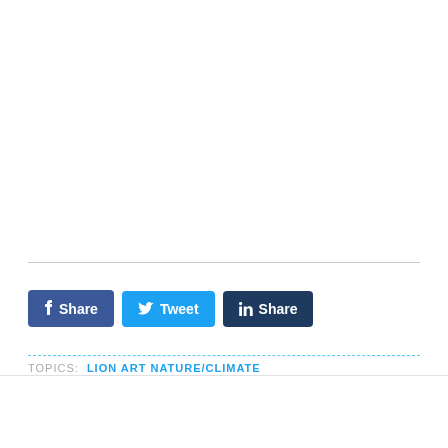[Figure (other): White empty content area above divider line]
Share  Tweet  Share
TOPICS: LION ART NATURE/CLIMATE
Winchester
170 Dawson Drive, Winchester